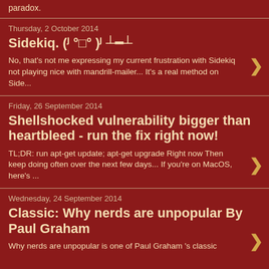paradox.
Thursday, 2 October 2014
Sidekiq. (ʲ °□° )ʲ ┴━┴
No, that's not me expressing my current frustration with Sidekiq not playing nice with mandrill-mailer... It's a real method on Side...
Friday, 26 September 2014
Shellshocked vulnerability bigger than heartbleed - run the fix right now!
TL;DR: run apt-get update; apt-get upgrade Right now Then keep doing often over the next few days... If you're on MacOS, here's ...
Wednesday, 24 September 2014
Classic: Why nerds are unpopular By Paul Graham
Why nerds are unpopular is one of Paul Graham 's classic